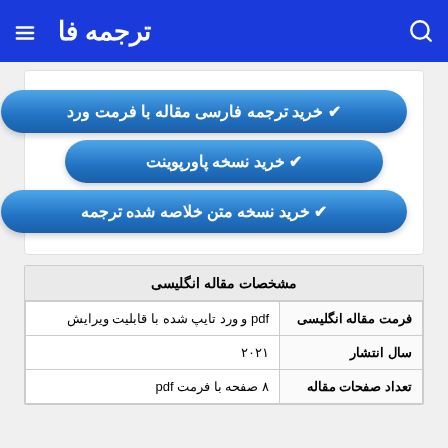ترجمه فا
✔ خرید ترجمه فارسی مقاله با فرمت ورد
✔ خرید نسخه پاورپوینت
✔ خرید نسخه متن خلاصه شده ترجمه
| فرمت مقاله انگلیسی |  |
| --- | --- |
| فرمت مقاله انگلیسی | pdf و ورد تایپ شده با قابلیت ویرایش |
| سال انتشار | ۲۰۲۱ |
| تعداد صفحات مقاله | ۸ صفحه با فرمت pdf |